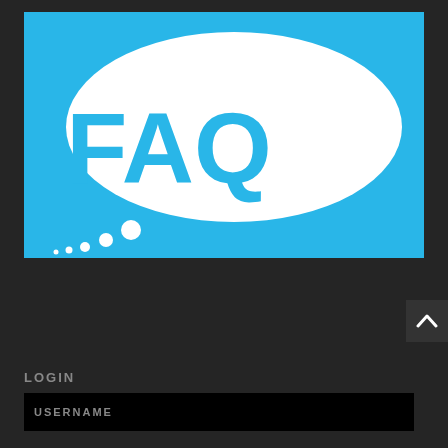[Figure (illustration): FAQ speech bubble illustration on a sky-blue background. A large white elliptical speech bubble contains the text 'FAQ' in bold cyan/sky-blue letters. Below the bubble are three thought-bubble dots in white (small, medium circles).]
LOGIN
USERNAME